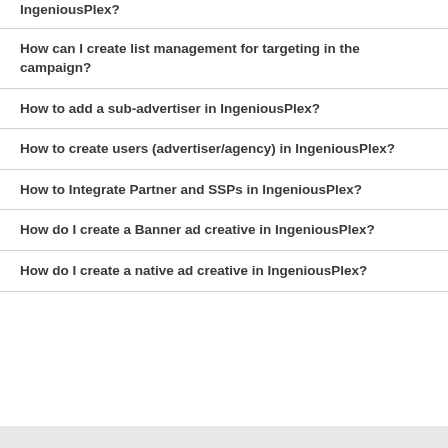IngeniousPlex?
How can I create list management for targeting in the campaign?
How to add a sub-advertiser in IngeniousPlex?
How to create users (advertiser/agency) in IngeniousPlex?
How to Integrate Partner and SSPs in IngeniousPlex?
How do I create a Banner ad creative in IngeniousPlex?
How do I create a native ad creative in IngeniousPlex?